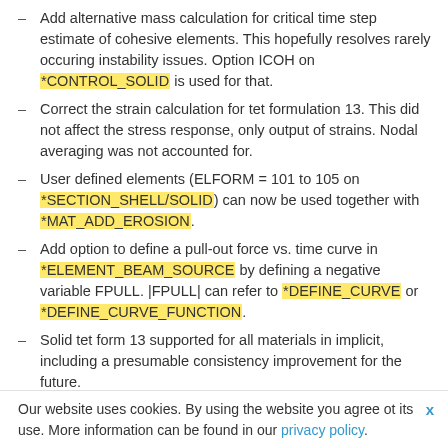Add alternative mass calculation for critical time step estimate of cohesive elements. This hopefully resolves rarely occuring instability issues. Option ICOH on *CONTROL_SOLID is used for that.
Correct the strain calculation for tet formulation 13. This did not affect the stress response, only output of strains. Nodal averaging was not accounted for.
User defined elements (ELFORM = 101 to 105 on *SECTION_SHELL/SOLID) can now be used together with *MAT_ADD_EROSION.
Add option to define a pull-out force vs. time curve in *ELEMENT_BEAM_SOURCE by defining a negative variable FPULL. |FPULL| can refer to *DEFINE_CURVE or *DEFINE_CURVE_FUNCTION.
Solid tet form 13 supported for all materials in implicit, including a presumable consistency improvement for the future.
The Hughes-Liu beam is supported in
Our website uses cookies. By using the website you agree ot its use. More information can be found in our privacy policy.